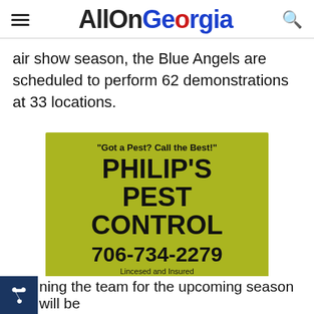AllOnGeorgia
air show season, the Blue Angels are scheduled to perform 62 demonstrations at 33 locations.
[Figure (illustration): Advertisement for Philip's Pest Control on a green/yellow-green background. Text reads: "Got a Pest? Call the Best!" PHILIP'S PEST CONTROL 706-734-2279 Lincesed and Insured]
ning the team for the upcoming season will be